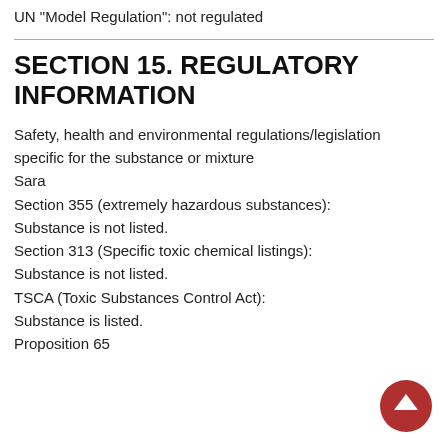UN "Model Regulation": not regulated
SECTION 15. REGULATORY INFORMATION
Safety, health and environmental regulations/legislation specific for the substance or mixture
Sara
Section 355 (extremely hazardous substances):
Substance is not listed.
Section 313 (Specific toxic chemical listings):
Substance is not listed.
TSCA (Toxic Substances Control Act):
Substance is listed.
Proposition 65